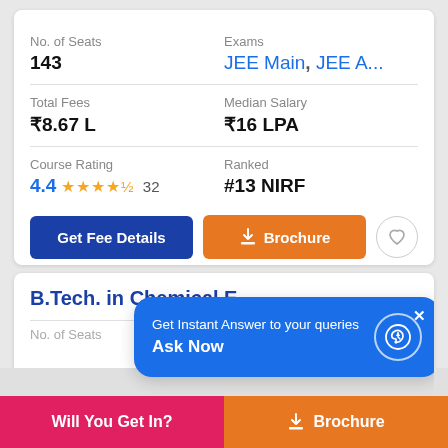| Field | Value |
| --- | --- |
| No. of Seats | 143 |
| Exams | JEE Main, JEE A... |
| Total Fees | ₹8.67 L |
| Median Salary | ₹16 LPA |
| Course Rating | 4.4 ★★★★½ 32 |
| Ranked | #13 NIRF |
Get Fee Details
Brochure
B.Tech. in Chemical E...
Get Instant Answer to your queries
Ask Now
Will You Get In?
Brochure